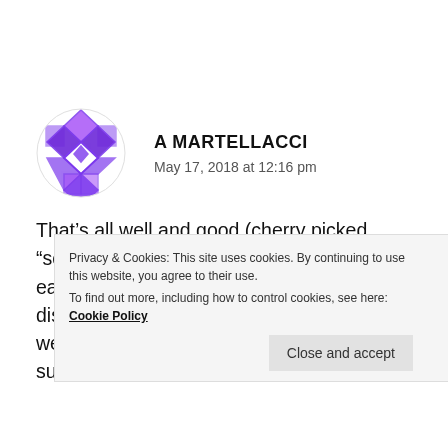[Figure (illustration): Purple geometric/diamond pattern avatar icon in a circle]
A MARTELLACCI
May 17, 2018 at 12:16 pm
That’s all well and good (cherry picked “science” sucks), but the fact of the matter is, eating meat causes many preventable diseases in humans. It’s not good for us and we know it. We have the data. If we were supposed to eat it, would it not be good for
Privacy & Cookies: This site uses cookies. By continuing to use this website, you agree to their use.
To find out more, including how to control cookies, see here: Cookie Policy
Close and accept